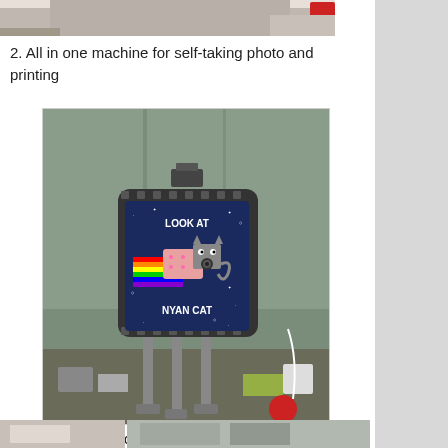[Figure (photo): Top portion of a photo showing people and equipment at what appears to be an event or booth, cropped at the top.]
2. All in one machine for self-taking photo and printing
[Figure (photo): A cylindrical photo booth machine with a Nyan Cat design standing on tripod legs. The machine has a dark blue panel displaying 'LOOK AT' at the top and 'NYAN CAT' at the bottom with a pixel-art Nyan Cat graphic with a rainbow. A flash is mounted on top. The machine is set up in a tent at an outdoor event.]
3. The future needs fixing by Sugru – Self-setting rubber for fix, modify, and adapt
[Figure (photo): Bottom row showing two photos partially visible at the bottom of the page.]